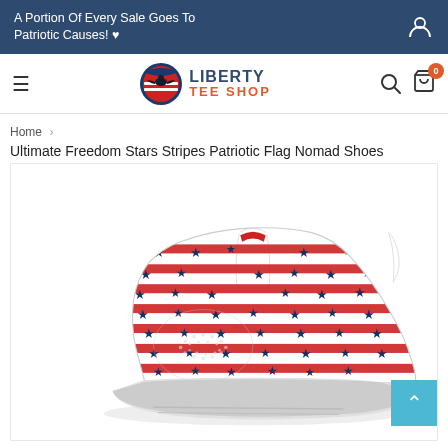A Portion Of Every Sale Goes To Patriotic Causes! ♥
[Figure (logo): Liberty Tee Shop logo with eagle emblem]
Home › Ultimate Freedom Stars Stripes Patriotic Flag Nomad Shoes
[Figure (photo): Patriotic American flag themed sneaker/nomad shoe with red and white stripes and navy blue stars pattern on white base]